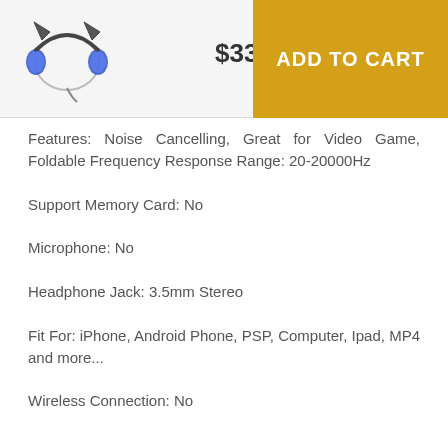[Figure (photo): Product image of cat-ear headphones with blue LED lights]
$33.32
ADD TO CART
Features: Noise Cancelling, Great for Video Game, Foldable Frequency Response Range: 20-20000Hz
Support Memory Card: No
Microphone: No
Headphone Jack: 3.5mm Stereo
Fit For: iPhone, Android Phone, PSP, Computer, Ipad, MP4 and more...
Wireless Connection: No